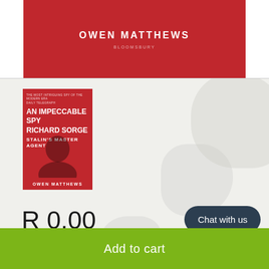[Figure (photo): Book cover banner showing 'OWEN MATTHEWS' in white bold letters and 'BLOOMSBURY' below on a red background]
[Figure (photo): Book cover thumbnail: 'An Impeccable Spy Richard Sorge Stalin's Master Agent' by Owen Matthews, red cover with face silhouette]
R 0.00
Quantity
1
Chat with us
Add to cart